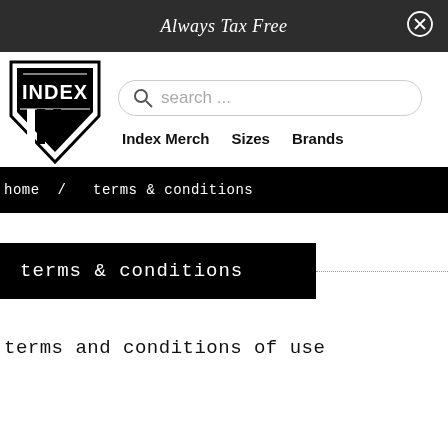Always Tax Free
[Figure (logo): INDEX shield logo in black and white]
search ...
Index Merch   Sizes   Brands
home / terms & conditions
terms & conditions
terms and conditions of use